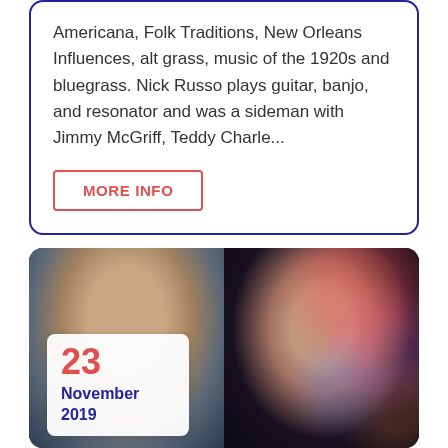Americana, Folk Traditions, New Orleans Influences, alt grass, music of the 1920s and bluegrass. Nick Russo plays guitar, banjo, and resonator and was a sideman with Jimmy McGriff, Teddy Charle...
MORE INFO
[Figure (photo): Two side-by-side photos: left shows a man with light brown hair looking upward against a dark blue background; right shows a woman wearing headphones and glasses, with colorful bokeh lights in the background.]
23
November
2019